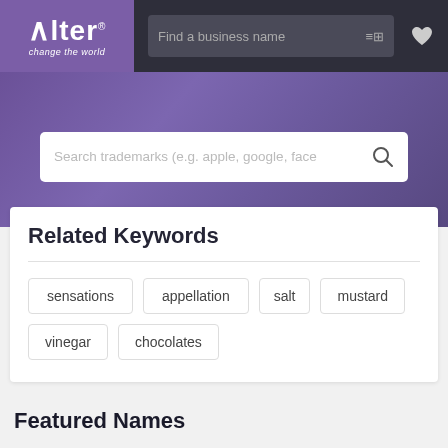[Figure (screenshot): Alter logo with tagline 'change the world' on purple background]
Find a business name
Search trademarks (e.g. apple, google, face
Related Keywords
sensations
appellation
salt
mustard
vinegar
chocolates
Featured Names